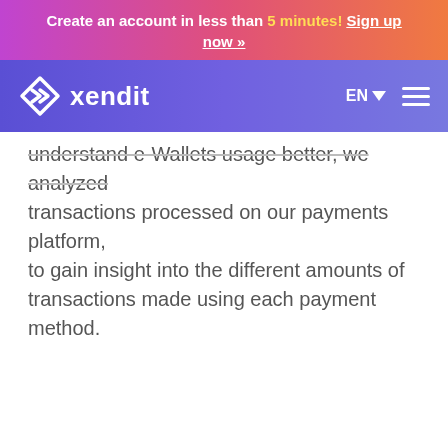Create an account in less than 5 minutes! Sign up now »
[Figure (logo): Xendit logo with navigation bar showing EN language selector and hamburger menu]
understand e-Wallets usage better, we analyzed transactions processed on our payments platform, to gain insight into the different amounts of transactions made using each payment method.